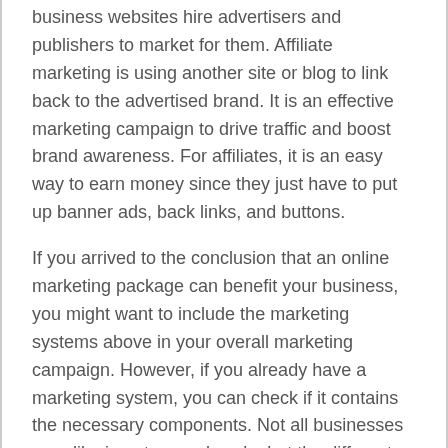business websites hire advertisers and publishers to market for them. Affiliate marketing is using another site or blog to link back to the advertised brand. It is an effective marketing campaign to drive traffic and boost brand awareness. For affiliates, it is an easy way to earn money since they just have to put up banner ads, back links, and buttons.
If you arrived to the conclusion that an online marketing package can benefit your business, you might want to include the marketing systems above in your overall marketing campaign. However, if you already have a marketing system, you can check if it contains the necessary components. Not all businesses are alike in nature and scale, but the different parts of what makes a complete internet marketing system can achieve most business goals.